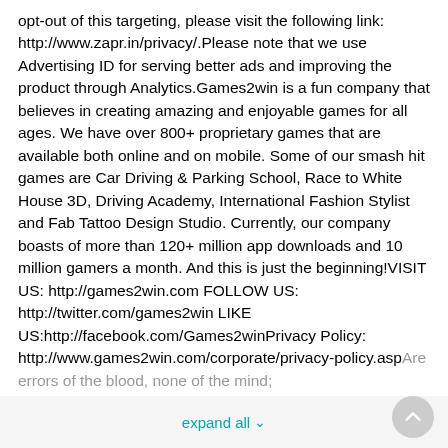opt-out of this targeting, please visit the following link: http://www.zapr.in/privacy/.Please note that we use Advertising ID for serving better ads and improving the product through Analytics.Games2win is a fun company that believes in creating amazing and enjoyable games for all ages. We have over 800+ proprietary games that are available both online and on mobile. Some of our smash hit games are Car Driving & Parking School, Race to White House 3D, Driving Academy, International Fashion Stylist and Fab Tattoo Design Studio. Currently, our company boasts of more than 120+ million app downloads and 10 million gamers a month. And this is just the beginning!VISIT US: http://games2win.com FOLLOW US: http://twitter.com/games2win LIKE US:http://facebook.com/Games2winPrivacy Policy: http://www.games2win.com/corporate/privacy-policy.aspAre errors of the blood, none of the mind;
expand all